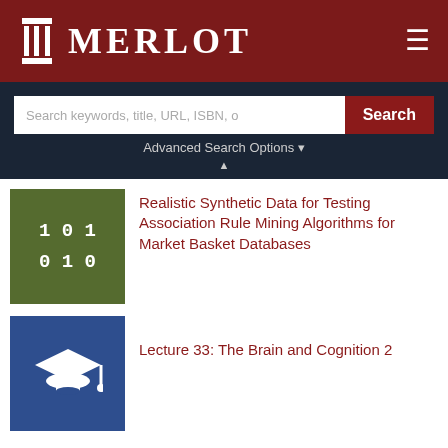MERLOT
Search keywords, title, URL, ISBN, o
Advanced Search Options
Realistic Synthetic Data for Testing Association Rule Mining Algorithms for Market Basket Databases
Lecture 33: The Brain and Cognition 2
Other materials like Question and Answers for session 1
Question and Answers for session 1